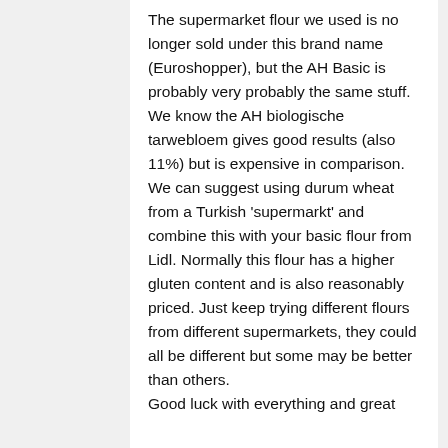The supermarket flour we used is no longer sold under this brand name (Euroshopper), but the AH Basic is probably very probably the same stuff. We know the AH biologische tarwebloem gives good results (also 11%) but is expensive in comparison. We can suggest using durum wheat from a Turkish 'supermarkt' and combine this with your basic flour from Lidl. Normally this flour has a higher gluten content and is also reasonably priced. Just keep trying different flours from different supermarkets, they could all be different but some may be better than others.
Good luck with everything and great